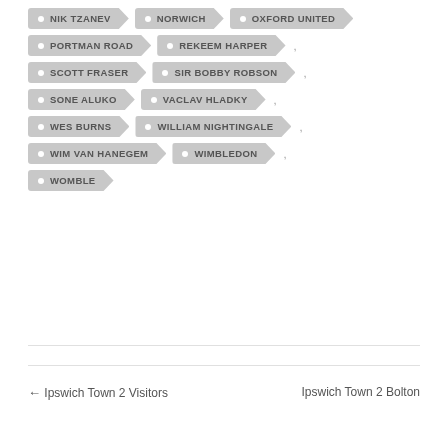NIK TZANEV
NORWICH
OXFORD UNITED
PORTMAN ROAD
REKEEM HARPER
SCOTT FRASER
SIR BOBBY ROBSON
SONE ALUKO
VACLAV HLADKY
WES BURNS
WILLIAM NIGHTINGALE
WIM VAN HANEGEM
WIMBLEDON
WOMBLE
← Ipswich Town 2 Visitors    Ipswich Town 2 Bolton